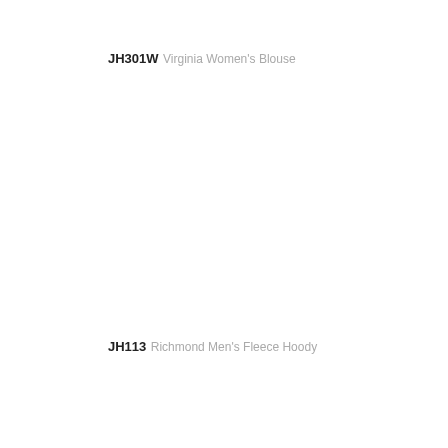JH301W
Virginia Women's Blouse
JH113
Richmond Men's Fleece Hoody